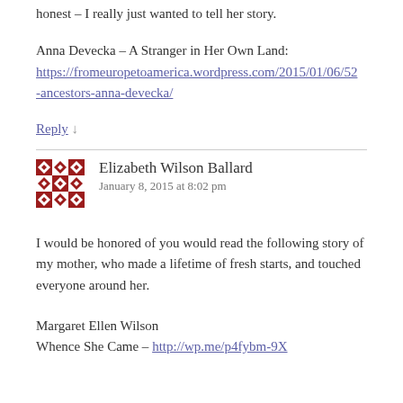honest – I really just wanted to tell her story.
Anna Devecka – A Stranger in Her Own Land: https://fromeuropetoamerica.wordpress.com/2015/01/06/52-ancestors-anna-devecka/
Reply ↓
Elizabeth Wilson Ballard
January 8, 2015 at 8:02 pm
I would be honored of you would read the following story of my mother, who made a lifetime of fresh starts, and touched everyone around her.
Margaret Ellen Wilson
Whence She Came – http://wp.me/p4fybm-9X